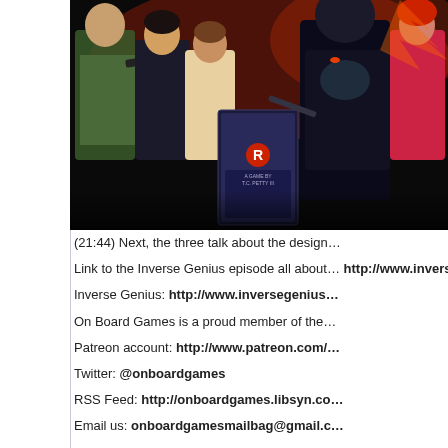[Figure (illustration): Comic-style box art showing group of action characters — soldiers and dramatic figures on a dark background, with a game box in the lower center labeled 'A Game by T.C. Petty III']
(21:44) Next, the three talk about the design…
Link to the Inverse Genius episode all about… http://www.inversegenius.com/inversege…
Inverse Genius: http://www.inversegenius…
On Board Games is a proud member of the…
Patreon account: http://www.patreon.com/…
Twitter: @onboardgames
RSS Feed: http://onboardgames.libsyn.co…
Email us: onboardgamesmailbag@gmail.c…
On Board Games Guild at Board Game Ge…